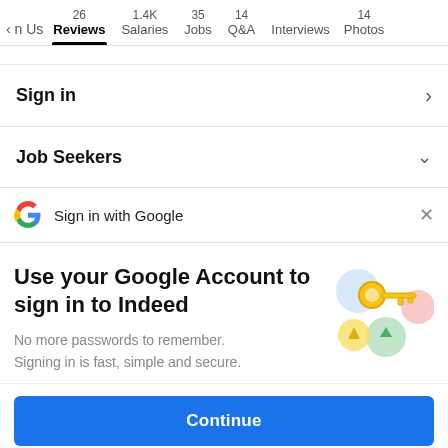n Us  26 Reviews  1.4K Salaries  35 Jobs  14 Q&A  Interviews  14 Photos
Sign in
Job Seekers
Sign in with Google
Use your Google Account to sign in to Indeed
No more passwords to remember. Signing in is fast, simple and secure.
Continue